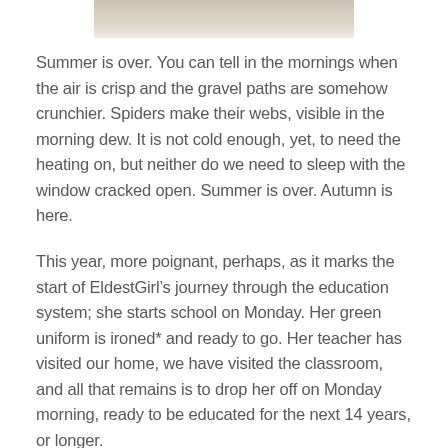[Figure (photo): Partial photo visible at the top of the page, showing an outdoor scene, cropped at the bottom edge visible here.]
Summer is over. You can tell in the mornings when the air is crisp and the gravel paths are somehow crunchier. Spiders make their webs, visible in the morning dew. It is not cold enough, yet, to need the heating on, but neither do we need to sleep with the window cracked open. Summer is over. Autumn is here.
This year, more poignant, perhaps, as it marks the start of EldestGirl’s journey through the education system; she starts school on Monday. Her green uniform is ironed* and ready to go. Her teacher has visited our home, we have visited the classroom, and all that remains is to drop her off on Monday morning, ready to be educated for the next 14 years, or longer.
She feels exactly how I would expect: excited but nervous. She has been ready for school for a little while. She’s